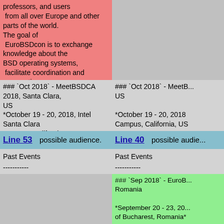professors, and users from all over Europe and other parts of the world. The goal of EuroBSDcon is to exchange knowledge about the BSD operating systems, facilitate coordination and cooperation among users and developers.
### `Oct 2018` - MeetBSDCA 2018, Santa Clara, US
### `Oct 2018` - MeetBSDCA 2018, Santa Clara, US
*October 19 - 20, 2018, Intel Santa Clara Campus, California, US*
*October 19 - 20, 2018, Intel Santa Clara Campus, California, US*
Line 53  possible audience.
Line 40  possible audience.
Past Events
-----------
Past Events
-----------
### `Sep 2018` - EuroBSDCon, Romania

*September 20 - 23, 2018, University of Bucharest, Romania*

[EuroBSDCon](https://2...) the premier European conference on the open systems attracting about 300 highly skilled